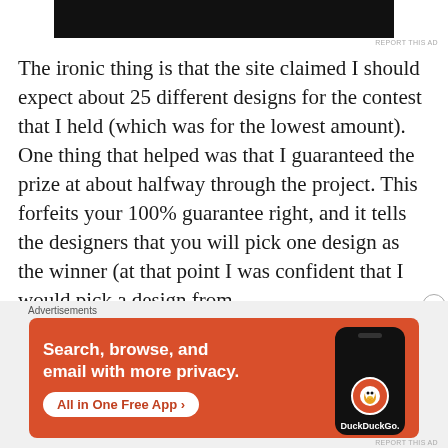[Figure (other): Dark advertisement banner at the top of the page]
REPORT THIS AD
The ironic thing is that the site claimed I should expect about 25 different designs for the contest that I held (which was for the lowest amount). One thing that helped was that I guaranteed the prize at about halfway through the project. This forfeits your 100% guarantee right, and it tells the designers that you will pick one design as the winner (at that point I was confident that I would pick a design from
Advertisements
[Figure (other): DuckDuckGo advertisement banner with orange background showing 'Search, browse, and email with more privacy. All in One Free App' with a phone image showing DuckDuckGo logo]